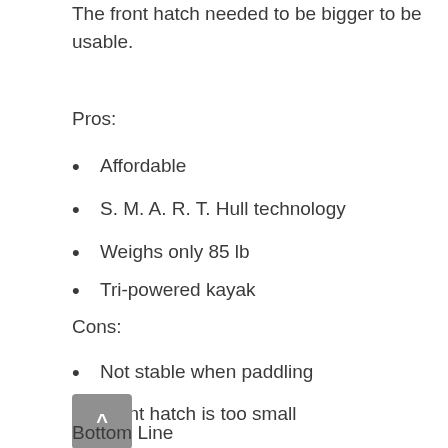The front hatch needed to be bigger to be usable.
Pros:
Affordable
S. M. A. R. T. Hull technology
Weighs only 85 lb
Tri-powered kayak
Cons:
Not stable when paddling
Front hatch is too small
Bottom Line